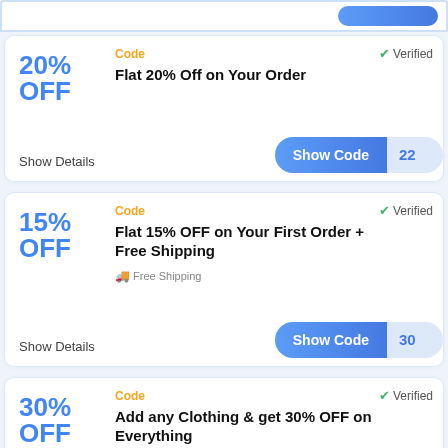[Figure (screenshot): Top partial coupon card strip with blue button]
Code | Verified | 20% OFF | Flat 20% Off on Your Order | Show Details | Show Code 22
Code | Verified | 15% OFF | Flat 15% OFF on Your First Order + Free Shipping | Free Shipping | Show Details | Show Code 30
Code | Verified | 30% OFF | Add any Clothing & get 30% OFF on Everything | Show Details | Show Code 30